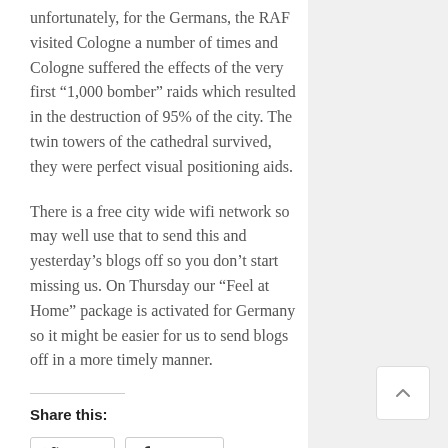unfortunately, for the Germans, the RAF visited Cologne a number of times and Cologne suffered the effects of the very first “1,000 bomber” raids which resulted in the destruction of 95% of the city. The twin towers of the cathedral survived, they were perfect visual positioning aids.
There is a free city wide wifi network so may well use that to send this and yesterday’s blogs off so you don’t start missing us. On Thursday our “Feel at Home” package is activated for Germany so it might be easier for us to send blogs off in a more timely manner.
Share this: